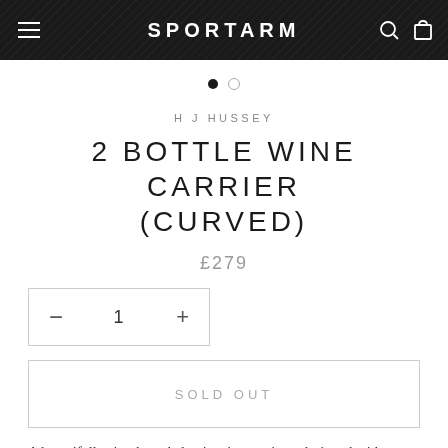SPORTARM
[Figure (other): Carousel pagination dots: one filled black dot and one empty circle dot]
H J HUSSEY
2 BOTTLE WINE CARRIER (CURVED)
£279
[Figure (other): Quantity selector box with minus button, quantity value of 1, and plus button]
[Figure (other): Sold Out button]
A beautifully simple and classic wine carrier – designed with Sportarm's in-mind to...